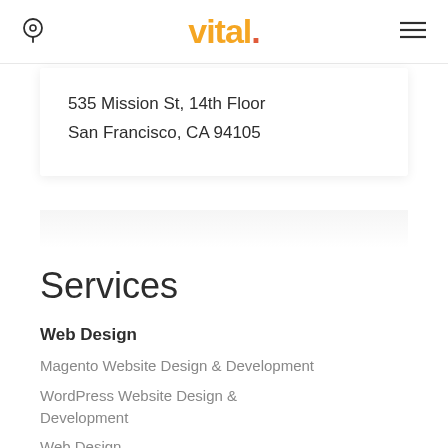vital.
535 Mission St, 14th Floor
San Francisco, CA 94105
Services
Web Design
Magento Website Design & Development
WordPress Website Design & Development
Web Design